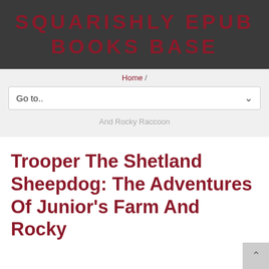SQUARISHLY EPUB BOOKS BASE
Home /
Go to..
And Rocky Raccoon
Trooper The Shetland Sheepdog: The Adventures Of Junior's Farm And Rocky